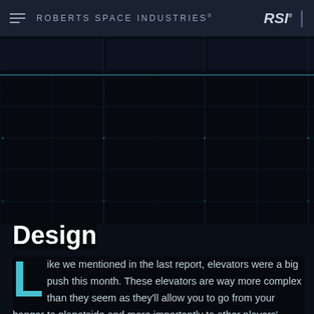ROBERTS SPACE INDUSTRIES® RSI®
[Figure (screenshot): Dark sci-fi HUD interface with grid lines and a cyan horizontal accent line on dark navy background]
Design
Like we mentioned in the last report, elevators were a big push this month. These elevators are way more complex than they seem as they'll allow you to go from your hangar to planetside and more importantly to other players' hangars. In the